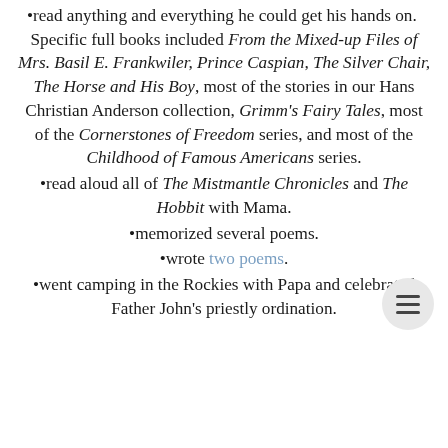•read anything and everything he could get his hands on. Specific full books included From the Mixed-up Files of Mrs. Basil E. Frankwiler, Prince Caspian, The Silver Chair, The Horse and His Boy, most of the stories in our Hans Christian Anderson collection, Grimm's Fairy Tales, most of the Cornerstones of Freedom series, and most of the Childhood of Famous Americans series.
•read aloud all of The Mistmantle Chronicles and The Hobbit with Mama.
•memorized several poems.
•wrote two poems.
•went camping in the Rockies with Papa and celebrated Father John's priestly ordination.